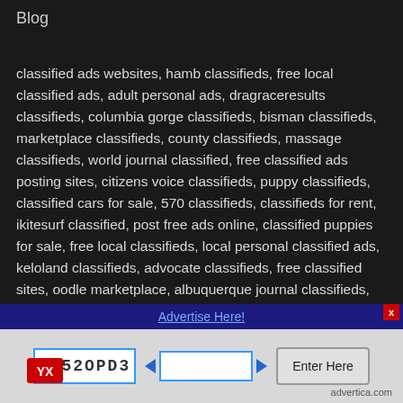Blog
classified ads websites, hamb classifieds, free local classified ads, adult personal ads, dragraceresults classifieds, columbia gorge classifieds, bisman classifieds, marketplace classifieds, county classifieds, massage classifieds, world journal classified, free classified ads posting sites, citizens voice classifieds, puppy classifieds, classified cars for sale, 570 classifieds, classifieds for rent, ikitesurf classified, post free ads online, classified puppies for sale, free local classifieds, local personal classified ads, keloland classifieds, advocate classifieds, free classified sites, oodle marketplace, albuquerque journal classifieds, gowilkes classifieds autos, money pit classifieds, pennysaver classifieds...
Advertise Here!
[Figure (screenshot): CAPTCHA widget with image showing code RJ52OPD3, input field with navigation arrows, and Enter Here button. Advertica.com branding at bottom right.]